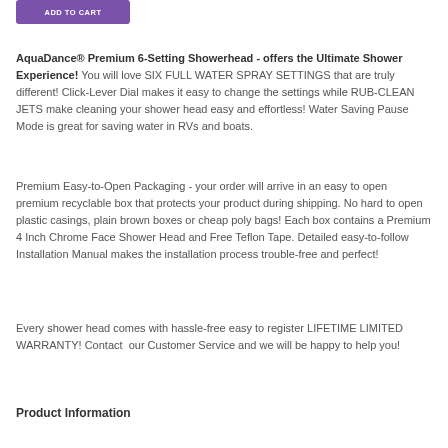[Figure (other): Purple 'ADD TO CART' button]
AquaDance® Premium 6-Setting Showerhead - offers the Ultimate Shower Experience! You will love SIX FULL WATER SPRAY SETTINGS that are truly different! Click-Lever Dial makes it easy to change the settings while RUB-CLEAN JETS make cleaning your shower head easy and effortless! Water Saving Pause Mode is great for saving water in RVs and boats.
Premium Easy-to-Open Packaging - your order will arrive in an easy to open premium recyclable box that protects your product during shipping. No hard to open plastic casings, plain brown boxes or cheap poly bags! Each box contains a Premium 4 Inch Chrome Face Shower Head and Free Teflon Tape. Detailed easy-to-follow Installation Manual makes the installation process trouble-free and perfect!
Every shower head comes with hassle-free easy to register LIFETIME LIMITED WARRANTY! Contact  our Customer Service and we will be happy to help you!
Product Information